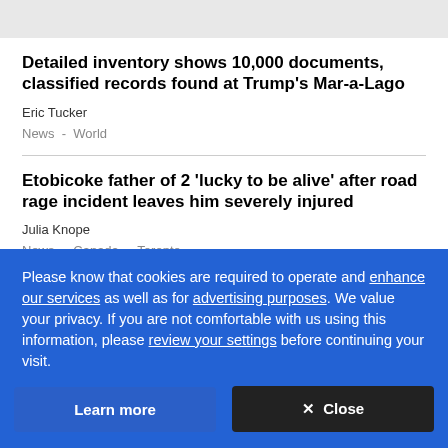Detailed inventory shows 10,000 documents, classified records found at Trump's Mar-a-Lago
Eric Tucker
News  -  World
Etobicoke father of 2 'lucky to be alive' after road rage incident leaves him severely injured
Julia Knope
News  -  Canada  -  Toronto
Please know that cookies are required to operate and enhance our services as well as for advertising purposes. We value your privacy. If you are not comfortable with us using this information, please review your settings before continuing your visit.